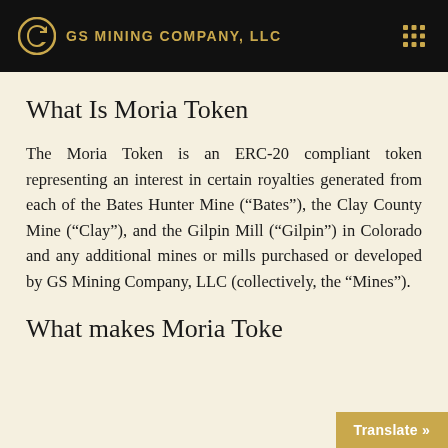GS MINING COMPANY, LLC
What Is Moria Token
The Moria Token is an ERC-20 compliant token representing an interest in certain royalties generated from each of the Bates Hunter Mine (“Bates”), the Clay County Mine (“Clay”), and the Gilpin Mill (“Gilpin”) in Colorado and any additional mines or mills purchased or developed by GS Mining Company, LLC (collectively, the “Mines”).
What makes Moria Toke